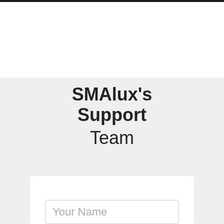SMAlux's Support Team
[Figure (other): Input form card with a text field labeled 'Your Name']